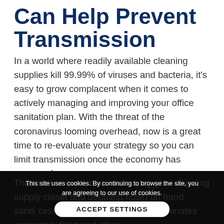Can Help Prevent Transmission
In a world where readily available cleaning supplies kill 99.99% of viruses and bacteria, it’s easy to grow complacent when it comes to actively managing and improving your office sanitation plan. With the threat of the coronavirus looming overhead, now is a great time to re-evaluate your strategy so you can limit transmission once the economy has reopened.
That means more than restocking your cleaning supply closet and doubling down on hand saniti... necessary steps to f... hat all but eliminates unsanitary filing and other
This site uses cookies. By continuing to browse the site, you are agreeing to our use of cookies. ACCEPT SETTINGS